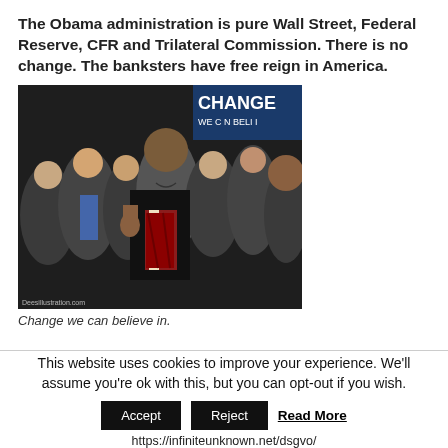The Obama administration is pure Wall Street, Federal Reserve, CFR and Trilateral Commission. There is no change. The banksters have free reign in America.
[Figure (photo): A composite/illustration photo showing Barack Obama smiling and waving surrounded by various political figures, with a 'CHANGE WE CAN BELIEVE IN' banner in the background. Watermark reads Deesillustration.com]
Change we can believe in.
This website uses cookies to improve your experience. We'll assume you're ok with this, but you can opt-out if you wish.
Accept   Reject   Read More
https://infiniteunknown.net/dsgvo/